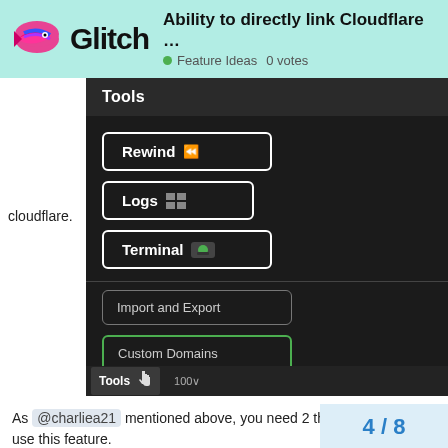Glitch — Ability to directly link Cloudflare ... Feature Ideas 0 votes
[Figure (screenshot): Screenshot of the Glitch editor Tools panel showing buttons: Rewind (with rewind icon), Logs (with grid icon), Terminal (with green icon), Import and Export, and Custom Domains (highlighted with green border). The bottom bar shows a Tools tab with cursor icon and a zoom control showing 100.]
cloudflare.
As @charliea21 mentioned above, you need 2 thanks to be able to use this feature.
4 / 8